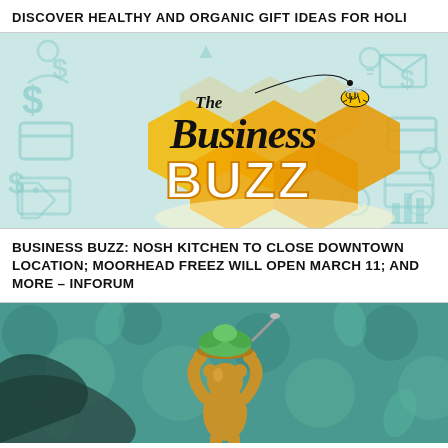DISCOVER HEALTHY AND ORGANIC GIFT IDEAS FOR HOLI
[Figure (logo): The Business Buzz logo with honeycomb hexagon design in orange/gold gradient, bee illustration, and teal business icon background]
BUSINESS BUZZ: NOSH KITCHEN TO CLOSE DOWNTOWN LOCATION; MOORHEAD FREEZ WILL OPEN MARCH 11; AND MORE – INFORUM
[Figure (photo): A gold decorative figurine holding a green leafy plant, set against a teal floral patterned background]